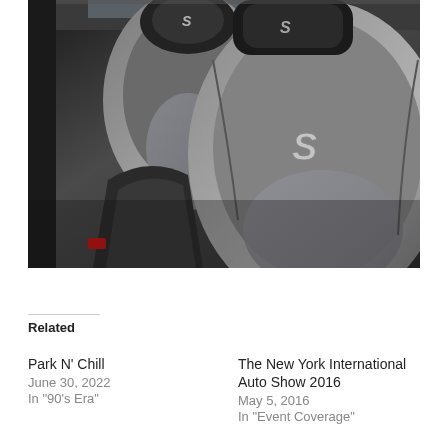[Figure (photo): Interior photograph of a car showing two leather bucket seats with 'S' logo embroidered on the headrests and seat backs. Seats are black and gray leather with textured fabric inserts. A red seatbelt buckle is visible in the lower left.]
Related
Park N' Chill
June 30, 2022
In "90's Era"
The New York International Auto Show 2016
May 5, 2016
In "Event Coverage"